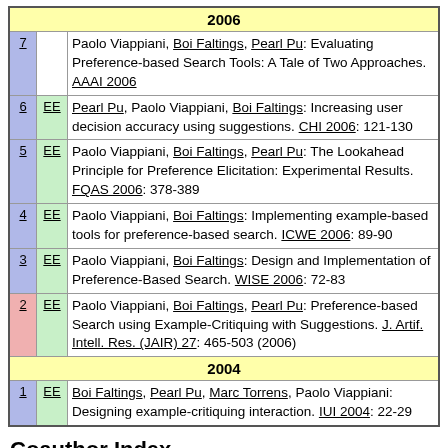| # | EE | Reference |
| --- | --- | --- |
| 2006 |  |  |
| 7 |  | Paolo Viappiani, Boi Faltings, Pearl Pu: Evaluating Preference-based Search Tools: A Tale of Two Approaches. AAAI 2006 |
| 6 | EE | Pearl Pu, Paolo Viappiani, Boi Faltings: Increasing user decision accuracy using suggestions. CHI 2006: 121-130 |
| 5 | EE | Paolo Viappiani, Boi Faltings, Pearl Pu: The Lookahead Principle for Preference Elicitation: Experimental Results. FQAS 2006: 378-389 |
| 4 | EE | Paolo Viappiani, Boi Faltings: Implementing example-based tools for preference-based search. ICWE 2006: 89-90 |
| 3 | EE | Paolo Viappiani, Boi Faltings: Design and Implementation of Preference-Based Search. WISE 2006: 72-83 |
| 2 | EE | Paolo Viappiani, Boi Faltings, Pearl Pu: Preference-based Search using Example-Critiquing with Suggestions. J. Artif. Intell. Res. (JAIR) 27: 465-503 (2006) |
| 2004 |  |  |
| 1 | EE | Boi Faltings, Pearl Pu, Marc Torrens, Paolo Viappiani: Designing example-critiquing interaction. IUI 2004: 22-29 |
Coauthor Index